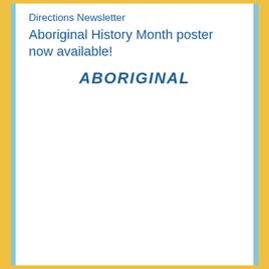Directions Newsletter
Aboriginal History Month poster now available!
[Figure (logo): Aboriginal logo text in bold italic blue font]